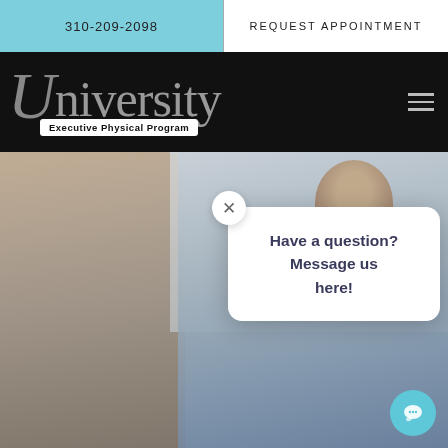310-209-2098
REQUEST APPOINTMENT
[Figure (logo): University Executive Physical Program logo on black background with hamburger menu icon]
[Figure (photo): Doctor consulting with patient in office setting, blurred foreground]
Have a question? Message us here!